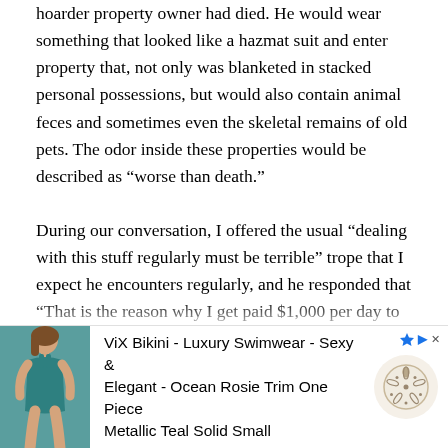hoarder property owner had died. He would wear something that looked like a hazmat suit and enter property that, not only was blanketed in stacked personal possessions, but would also contain animal feces and sometimes even the skeletal remains of old pets. The odor inside these properties would be described as “worse than death.”

During our conversation, I offered the usual “dealing with this stuff regularly must be terrible” trope that I expect he encounters regularly, and he responded that “That is the reason why I get paid $1,000 per day to clean it out.” It was a very mature understanding of cause and effect. Broadly speaking, that which makes a task difficult or onerous is a
nt part of what deservedly results in compensation for
[Figure (screenshot): Advertisement banner for ViX Bikini - Luxury Swimwear featuring a woman in a teal swimsuit, with text 'ViX Bikini - Luxury Swimwear - Sexy & Elegant - Ocean Rosie Trim One Piece Metallic Teal Solid Small' and a sand dollar logo]